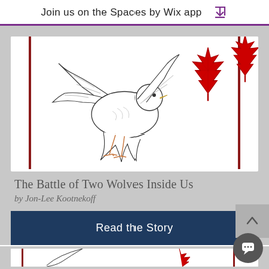Join us on the Spaces by Wix app
[Figure (illustration): A white dove in flight carrying a red maple leaf in its beak, with red vertical lines framing the illustration on a white background.]
The Battle of Two Wolves Inside Us
by Jon-Lee Kootnekoff
Read the Story